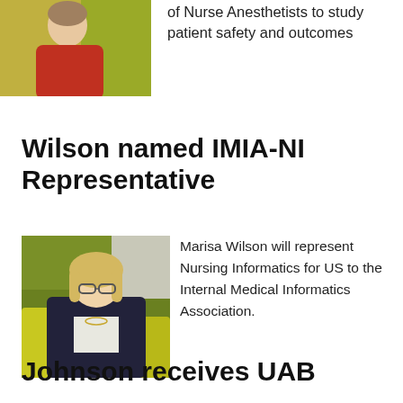[Figure (photo): Photo of a person in a red sweater against a yellow-green background]
of Nurse Anesthetists to study patient safety and outcomes
Wilson named IMIA-NI Representative
[Figure (photo): Photo of Marisa Wilson, a woman with blonde hair and glasses wearing a dark blazer, against a yellow-green interior background]
Marisa Wilson will represent Nursing Informatics for US to the Internal Medical Informatics Association.
Johnson receives UAB